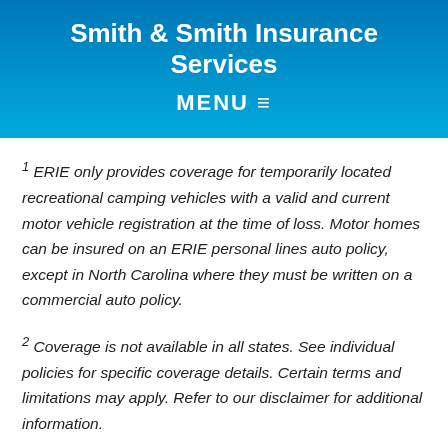Smith & Smith Insurance Services
MENU ≡
1 ERIE only provides coverage for temporarily located recreational camping vehicles with a valid and current motor vehicle registration at the time of loss. Motor homes can be insured on an ERIE personal lines auto policy, except in North Carolina where they must be written on a commercial auto policy.
2 Coverage is not available in all states. See individual policies for specific coverage details. Certain terms and limitations may apply. Refer to our disclaimer for additional information.